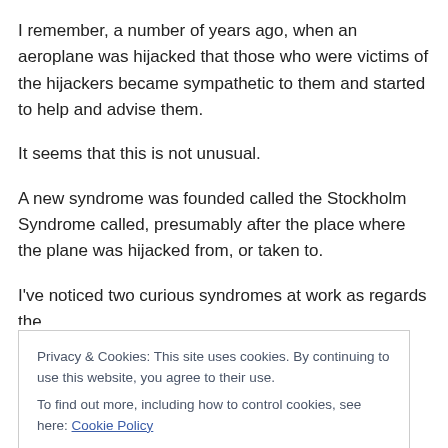I remember, a number of years ago, when an aeroplane was hijacked that those who were victims of the hijackers became sympathetic to them and started to help and advise them.
It seems that this is not unusual.
A new syndrome was founded called the Stockholm Syndrome called, presumably after the place where the plane was hijacked from, or taken to.
I've noticed two curious syndromes at work as regards the
Privacy & Cookies: This site uses cookies. By continuing to use this website, you agree to their use.
To find out more, including how to control cookies, see here: Cookie Policy
Close and accept